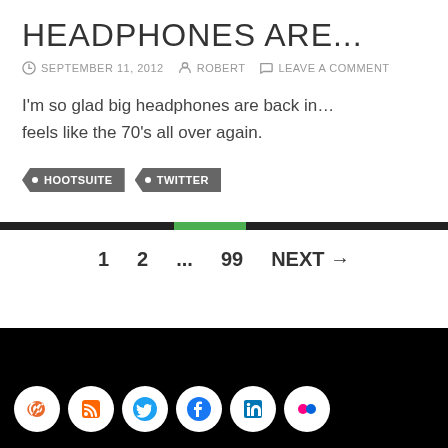HEADPHONES ARE...
SEPTEMBER 11, 2012  ROBERT  LEAVE A COMMENT
I'm so glad big headphones are back in… feels like the 70's all over again.
HOOTSUITE
TWITTER
1  2  ...  99  NEXT →